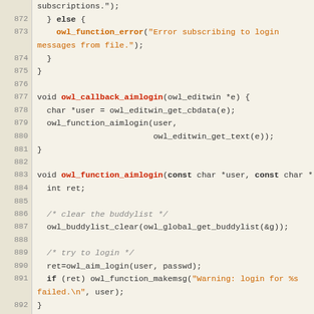Source code listing, lines 871-900, C programming language